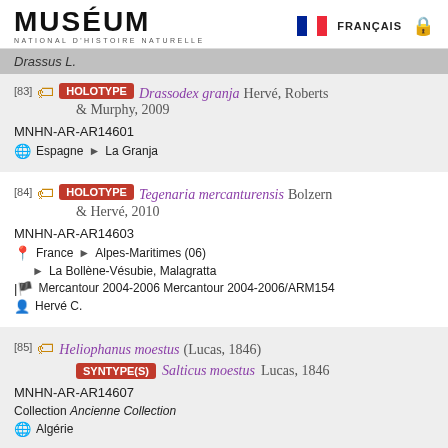MUSÉUM NATIONAL D'HISTOIRE NATURELLE | FRANÇAIS
Drassus L.
[83] HOLOTYPE Drassodex granja Hervé, Roberts & Murphy, 2009
MNHN-AR-AR14601
Espagne > La Granja
[84] HOLOTYPE Tegenaria mercanturensis Bolzern & Hervé, 2010
MNHN-AR-AR14603
France > Alpes-Maritimes (06)
La Bollène-Vésubie, Malagratta
Mercantour 2004-2006 Mercantour 2004-2006/ARM154
Hervé C.
[85] Heliophanus moestus (Lucas, 1846)
SYNTYPE(S) Salticus moestus Lucas, 1846
MNHN-AR-AR14607
Collection Ancienne Collection
Algérie